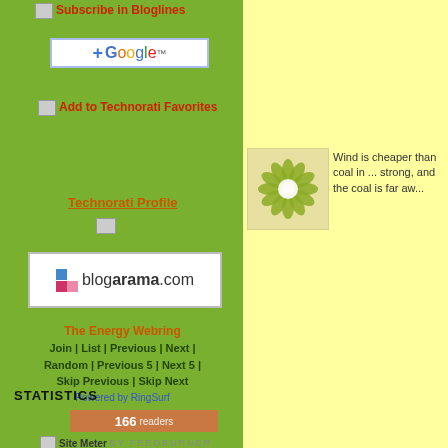Subscribe in Bloglines
[Figure (logo): Google +Google badge/button]
Add to Technorati Favorites
Technorati Profile
[Figure (logo): blogarama.com logo badge]
The Energy Webring
Join | List | Previous | Next | Random | Previous 5 | Next 5 | Skip Previous | Skip Next
Powered by RingSurf
STATISTICS
166 readers
Site Meter BY FEEDBURNER
1,654 Pageviews
Jul 30th - Aug 30th
dispatchable anyway, is a fos... emits a greenhouse gas whe... power" Yeah, sure. See abov...
Posted by: Udo Stenzel | Decembe...
[Figure (illustration): Green and white flower/snowflake illustration on light background]
Wind is cheaper than coal in ... strong, and the coal is far aw...
http://web.archive.org/web/20...
Coal resources are concentra... higher electricity prices in are... costs. The residential price o... are on the order of 3.6 US ce... Guangdong province last yea... term, these are the most pron...
Table 2 lists the six existing w... Jiangsu–Rudong #1 and Gua... Construction has started, and... end of 2006. The four project... and developers are in negotia... range from 4.6 to 6.2 US cen...
Posted by: Clee | December 24, 20...